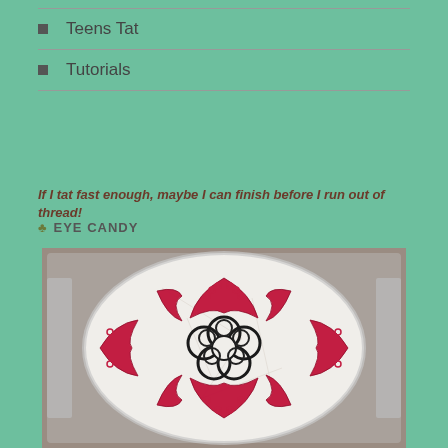Teens Tat
Tutorials
If I tat fast enough, maybe I can finish before I run out of thread!
♣ EYE CANDY
[Figure (photo): Photo of tatted lace doily with red and black thread patterns inside a glass/clear round container, placed on a textured surface]